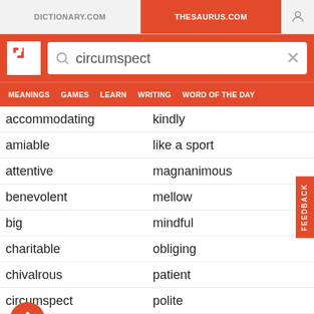DICTIONARY.COM | THESAURUS.COM
[Figure (screenshot): Thesaurus.com website header with logo and search bar showing 'circumspect', navigation bar with MEANINGS, GAMES, LEARN, WRITING, WORD OF THE DAY]
accommodating | kindly
amiable | like a sport
attentive | magnanimous
benevolent | mellow
big | mindful
charitable | obliging
chivalrous | patient
circumspect | polite
compassionate | solicitous